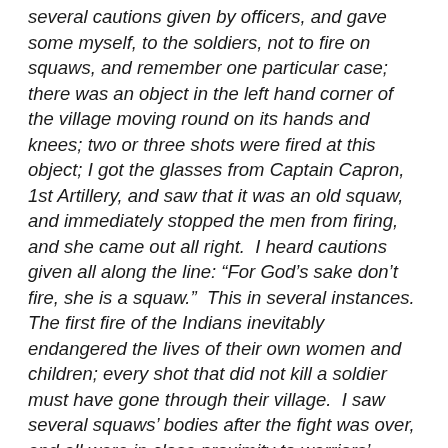several cautions given by officers, and gave some myself, to the soldiers, not to fire on squaws, and remember one particular case; there was an object in the left hand corner of the village moving round on its hands and knees; two or three shots were fired at this object; I got the glasses from Captain Capron, 1st Artillery, and saw that it was an old squaw, and immediately stopped the men from firing, and she came out all right.  I heard cautions given all along the line: “For God’s sake don’t fire, she is a squaw.”  This in several instances.  The first fire of the Indians inevitably endangered the lives of their own women and children; every shot that did not kill a soldier must have gone through their village.  I saw several squaws’ bodies after the fight was over, and all were in close proximity to warriors’ bodies.  The fire from warriors continued as long as it was possible for them to fire; they even fired after they were wounded and lying on the ground and from the